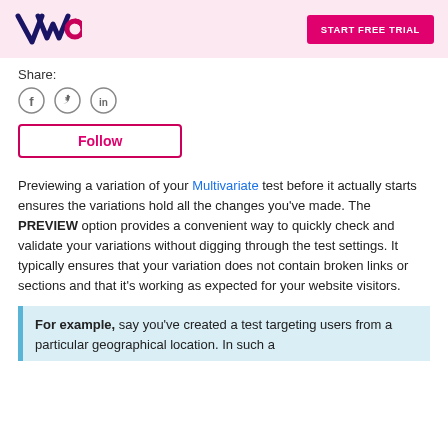VWO | START FREE TRIAL
Share:
[Figure (illustration): Three circular social share icons: Facebook (f), Twitter (bird), LinkedIn (in)]
Follow
Previewing a variation of your Multivariate test before it actually starts ensures the variations hold all the changes you've made. The PREVIEW option provides a convenient way to quickly check and validate your variations without digging through the test settings. It typically ensures that your variation does not contain broken links or sections and that it's working as expected for your website visitors.
For example, say you've created a test targeting users from a particular geographical location. In such a